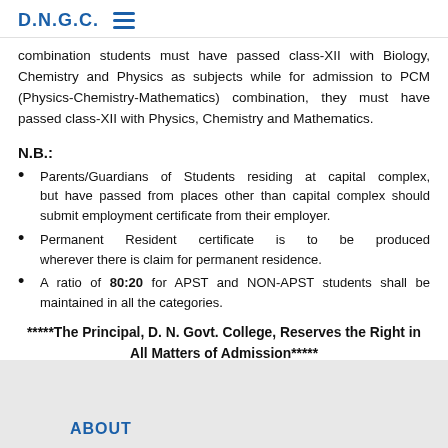D.N.G.C.
combination students must have passed class-XII with Biology, Chemistry and Physics as subjects while for admission to PCM (Physics-Chemistry-Mathematics) combination, they must have passed class-XII with Physics, Chemistry and Mathematics.
N.B.:
Parents/Guardians of Students residing at capital complex, but have passed from places other than capital complex should submit employment certificate from their employer.
Permanent Resident certificate is to be produced wherever there is claim for permanent residence.
A ratio of 80:20 for APST and NON-APST students shall be maintained in all the categories.
*****The Principal, D. N. Govt. College, Reserves the Right in All Matters of Admission*****
ABOUT